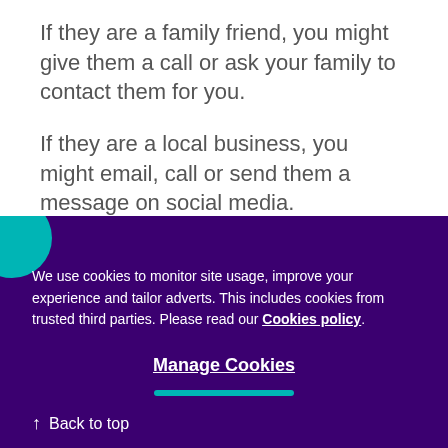If they are a family friend, you might give them a call or ask your family to contact them for you.
If they are a local business, you might email, call or send them a message on social media.
We use cookies to monitor site usage, improve your experience and tailor adverts. This includes cookies from trusted third parties. Please read our Cookies policy.
Manage Cookies
↑ Back to top